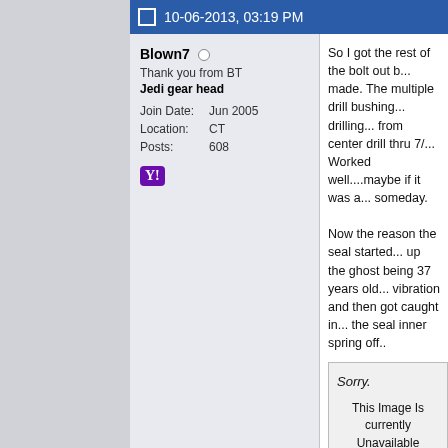10-06-2013, 03:19 PM
Blown7
Thank you from BT
Jedi gear head
Join Date: Jun 2005
Location: CT
Posts: 608
So I got the rest of the bolt out b... made. The multiple drill bushing... drilling... from center drill thru 7/... Worked well....maybe if it was a... someday.

Now the reason the seal started... up the ghost being 37 years old... vibration and then got caught in... the seal inner spring off..
[Figure (screenshot): Photobucket image unavailable placeholder showing 'Sorry. This Image Is currently Unavailable' with photobucket logo at bottom]
So how many people have run a... had good results on the seal no...

I don't feel like removing everythi... (getting lazy in my old age)..so... ..but it won't be the same diame... same diameter as the seal) so h...